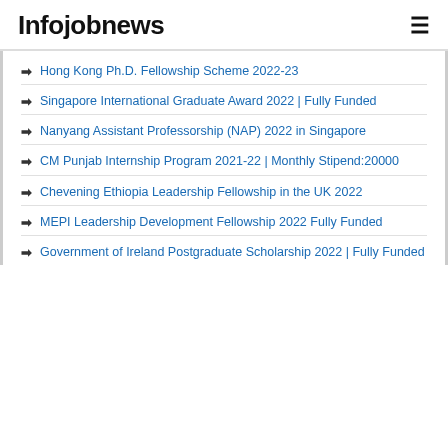Infojobnews
Hong Kong Ph.D. Fellowship Scheme 2022-23
Singapore International Graduate Award 2022 | Fully Funded
Nanyang Assistant Professorship (NAP) 2022 in Singapore
CM Punjab Internship Program 2021-22 | Monthly Stipend:20000
Chevening Ethiopia Leadership Fellowship in the UK 2022
MEPI Leadership Development Fellowship 2022 Fully Funded
Government of Ireland Postgraduate Scholarship 2022 | Fully Funded